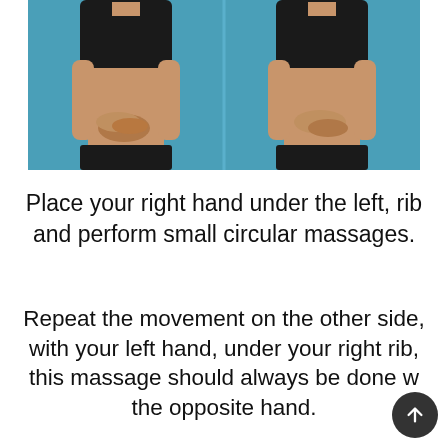[Figure (photo): Two side-by-side photos of a woman in black athletic wear on a blue background. In the left photo, her right hand is placed under the left rib area in a cupped/interlaced position. In the right photo, her left hand is placed under the right rib area.]
Place your right hand under the left, rib and perform small circular massages.
Repeat the movement on the other side, with your left hand, under your right rib, this massage should always be done with the opposite hand.